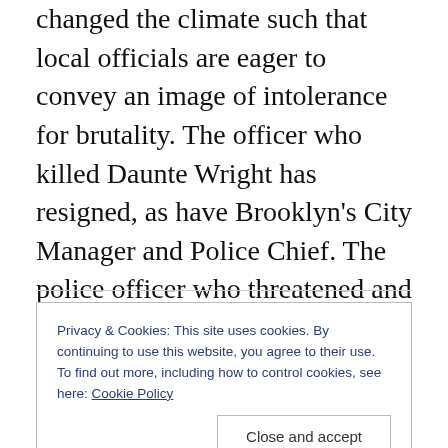changed the climate such that local officials are eager to convey an image of intolerance for brutality. The officer who killed Daunte Wright has resigned, as have Brooklyn's City Manager and Police Chief. The police officer who threatened and pepper-sprayed Caron Nazario was fired, and Virginia governor has ordered an investigation.
These moves are, really, very small steps–with limited significance by themselves. If, however, they can feed and engage an activist imagination, the world may change.
Privacy & Cookies: This site uses cookies. By continuing to use this website, you agree to their use. To find out more, including how to control cookies, see here: Cookie Policy